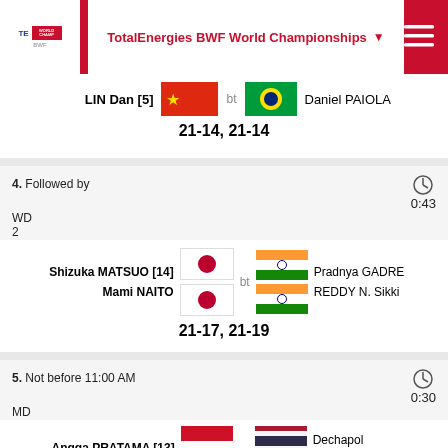TotalEnergies BWF World Championships
LIN Dan [5] bt Daniel PAIOLA
21-14, 21-14
4. Followed by
WD
2
0:43
Shizuka MATSUO [14] / Mami NAITO bt Pradnya GADRE / REDDY N. Sikki
21-17, 21-19
5. Not before 11:00 AM
MD
2
0:30
Angga PRATAMA [13] / Ricky KARANDASUWARDI bt Dechapol PUAVARANUKROH / Kittinupong KEDREN